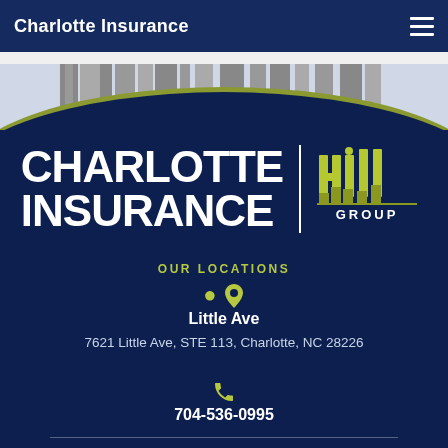Charlotte Insurance
[Figure (photo): Building/city skyline photo strip with arc transition into dark blue background]
CHARLOTTE INSURANCE
[Figure (logo): Hill Group logo with olive/yellow styled lettering and GROUP text beneath]
OUR LOCATIONS
Little Ave
7621 Little Ave, STE 113, Charlotte, NC 28226
704-536-0995